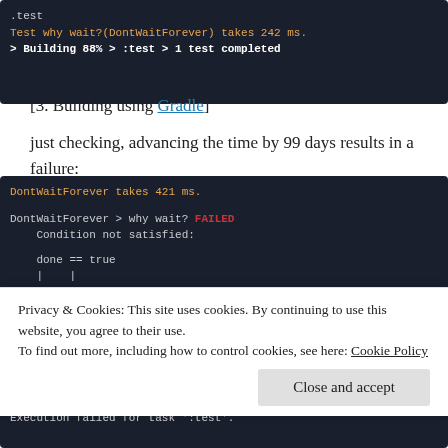[Figure (screenshot): Terminal/console output showing: .test line, 'Test why wait?(DontWaitForever) takes 242 ms.' in orange, '> Building 88% > :test > 1 test completed' in bold white with blue cursor highlight]
[3. Building using Gradle]
just checking, advancing the time by 99 days results in a failure:
[Figure (screenshot): Terminal output showing: 'DontWaitForever takes 421 ms.' in orange, 'DontWaitForever > why wait? FAILED' with FAILED in red, '    Condition not satisfied:', '    done == true', '    |    |']
[Figure (screenshot): Terminal output showing: 'Execution failed for task ':test'.']
Privacy & Cookies: This site uses cookies. By continuing to use this website, you agree to their use.
To find out more, including how to control cookies, see here: Cookie Policy